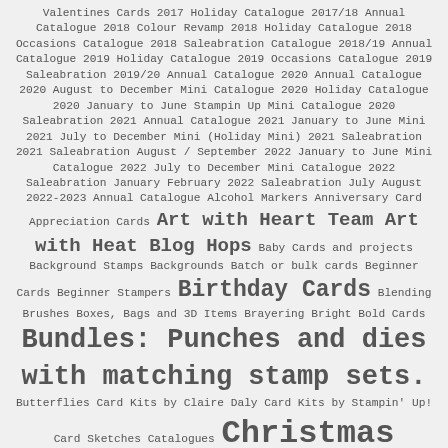Valentines Cards 2017 Holiday Catalogue 2017/18 Annual Catalogue 2018 Colour Revamp 2018 Holiday Catalogue 2018 Occasions Catalogue 2018 Saleabration Catalogue 2018/19 Annual Catalogue 2019 Holiday Catalogue 2019 Occasions Catalogue 2019 Saleabration 2019/20 Annual Catalogue 2020 Annual Catalogue 2020 August to December Mini Catalogue 2020 Holiday Catalogue 2020 January to June Stampin Up Mini Catalogue 2020 Saleabration 2021 Annual Catalogue 2021 January to June Mini 2021 July to December Mini (Holiday Mini) 2021 Saleabration 2021 Saleabration August / September 2022 January to June Mini Catalogue 2022 July to December Mini Catalogue 2022 Saleabration January February 2022 Saleabration July August 2022-2023 Annual Catalogue Alcohol Markers Anniversary Card Appreciation Cards Art with Heart Team Art with Heat Blog Hops Baby Cards and projects Background Stamps Backgrounds Batch or bulk cards Beginner Cards Beginner Stampers Birthday Cards Blending Brushes Boxes, Bags and 3D Items Brayering Bright Bold Cards Bundles: Punches and dies with matching stamp sets. Butterflies Card Kits by Claire Daly Card Kits by Stampin' Up! Card Sketches Catalogues Christmas cards and other papercraft projects. Christmas Ornaments Class by Mail Classes Clearance Rack Clubs Colour Challenges Colour Combinations Colour Creations Blog Hop Coloured Images Colouring Congratulations Cards Delicata Metallic Inks Designer Series